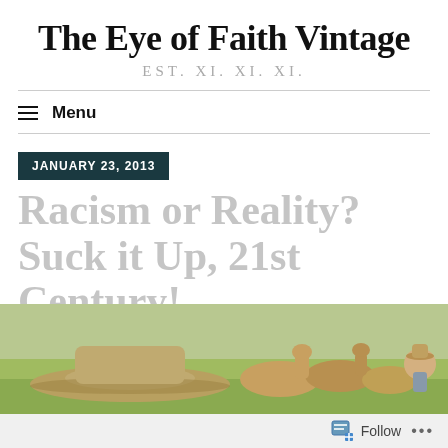The Eye of Faith Vintage
EST. XI. XI. XI.
≡ Menu
JANUARY 23, 2013
Racism or Reality? Suck it Up, 21st Century!
[Figure (photo): Outdoor scene with cowboys on horses wearing wide-brim hats in a field]
Follow ...